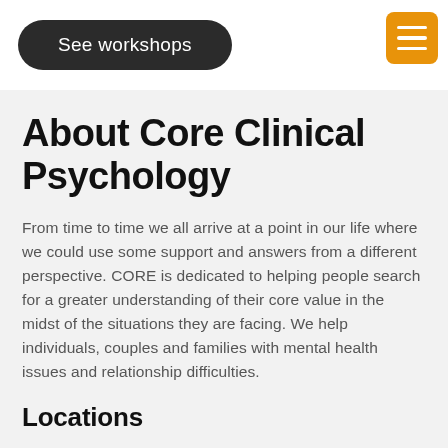[Figure (screenshot): Dark rounded-rectangle button with text 'See workshops' and an orange hamburger menu icon in the top right corner]
About Core Clinical Psychology
From time to time we all arrive at a point in our life where we could use some support and answers from a different perspective. CORE is dedicated to helping people search for a greater understanding of their core value in the midst of the situations they are facing. We help individuals, couples and families with mental health issues and relationship difficulties.
Locations
WAIKIKI
South Coast College Main Entrance